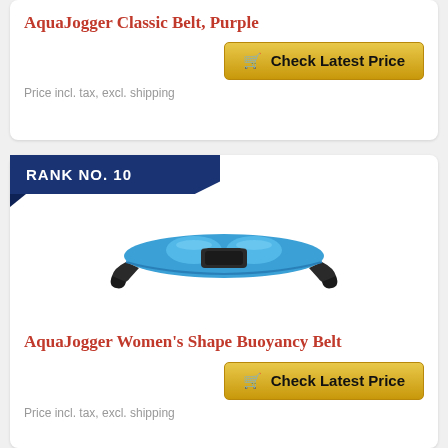AquaJogger Classic Belt, Purple
Check Latest Price
Price incl. tax, excl. shipping
RANK NO. 10
[Figure (photo): Blue AquaJogger Women's Shape Buoyancy Belt product photo]
AquaJogger Women's Shape Buoyancy Belt
Check Latest Price
Price incl. tax, excl. shipping